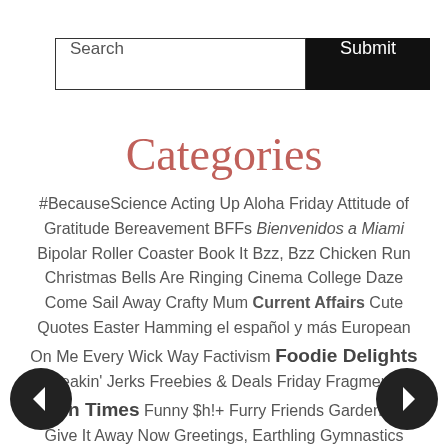Search | Submit
Categories
#BecauseScience Acting Up Aloha Friday Attitude of Gratitude Bereavement BFFs Bienvenidos a Miami Bipolar Roller Coaster Book It Bzz, Bzz Chicken Run Christmas Bells Are Ringing Cinema College Daze Come Sail Away Crafty Mum Current Affairs Cute Quotes Easter Hamming el español y más European On Me Every Wick Way Factivism Foodie Delights Freakin' Jerks Freebies & Deals Friday Fragments Fun Times Funny $h!+ Furry Friends Gardening Give It Away Now Greetings, Earthling Gymnastics Hallowe'en He Reads! Health Woes Hey, Crochet Horsing Around Idaho What I'm Doing Jafra Journey With Phoenix Kitchen's Callin' Knitting Pretty Lupus et al. Mama Mia Maryland, merry land! Memes & More Model Behavior Music to My Ears Mystery Shops Organically Yours Os the Pouch Our GoPro Show Photography Amateur Playing Games Polling the Room Portraiture Product Review PSA Raging Factivism Saturday & Soon You Fly Raging Shout!